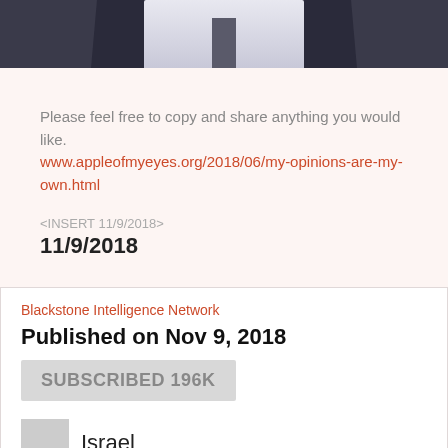[Figure (photo): Partial photo of a person in a shirt, tie, and dark jacket, cropped at the top of the page]
Please feel free to copy and share anything you would like.
 www.appleofmyeyes.org/2018/06/my-opinions-are-my-own.html
<INSERT 11/9/2018>
11/9/2018
Blackstone Intelligence Network
Published on Nov 9, 2018
SUBSCRIBED 196K
Israel